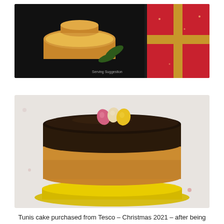[Figure (photo): Top portion of a Tunis cake product box showing a golden sponge cake with marzipan decoration and Christmas greenery on a dark background, with a red and gold gift box on the right side. Small text reads 'Serving Suggestion'.]
[Figure (photo): A Tunis cake purchased from Tesco at Christmas 2021, showing a round sponge cake on a yellow/gold board, topped with a thick dark chocolate ganache layer and decorated with three small colorful candy eggs (pink, cream, and yellow) on top.]
Tunis cake purchased from Tesco – Christmas 2021 – after being